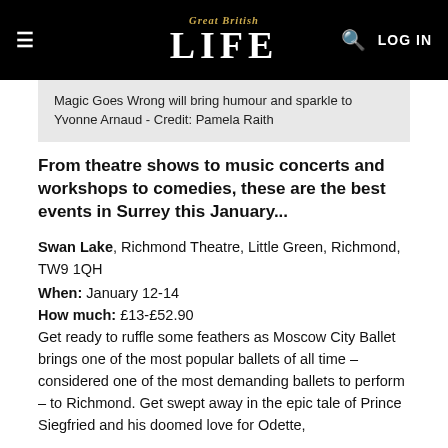Great British LIFE  LOG IN
Magic Goes Wrong will bring humour and sparkle to Yvonne Arnaud - Credit: Pamela Raith
From theatre shows to music concerts and workshops to comedies, these are the best events in Surrey this January...
Swan Lake, Richmond Theatre, Little Green, Richmond, TW9 1QH
When: January 12-14
How much: £13-£52.90
Get ready to ruffle some feathers as Moscow City Ballet brings one of the most popular ballets of all time – considered one of the most demanding ballets to perform – to Richmond. Get swept away in the epic tale of Prince Siegfried and his doomed love for Odette,